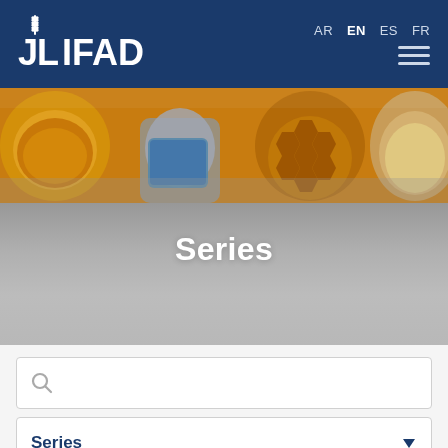IFAD — AR EN ES FR — Navigation menu
[Figure (photo): Hero image showing food items including bowls of spices, honeycomb, and other agricultural products on a yellow/orange surface]
Series
[Figure (other): Search box with magnifying glass icon]
Series (dropdown filter)
To... (partially visible dropdown)